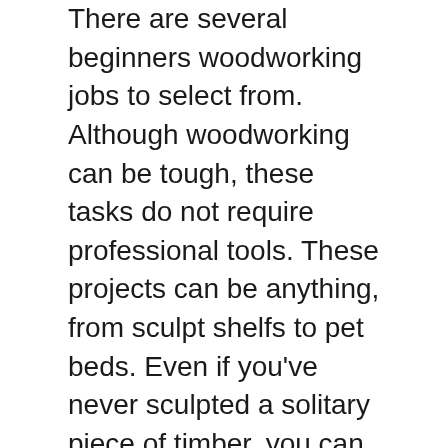There are several beginners woodworking jobs to select from. Although woodworking can be tough, these tasks do not require professional tools. These projects can be anything, from sculpt shelfs to pet beds. Even if you've never sculpted a solitary piece of timber, you can get the hang of it as well as go on to more difficult woodworking jobs in time. Furthermore, newbies will acquire confidence and also experience with these woodworking tasks and also will have the ability to deal with harder tasks in the future.
There are a lot of ways to make use of scrap wood. A easy, practical beer caddy can be developed utilizing pallet wood. Beginner woodworking jobs might also involve furnishings. For example, a simple side table